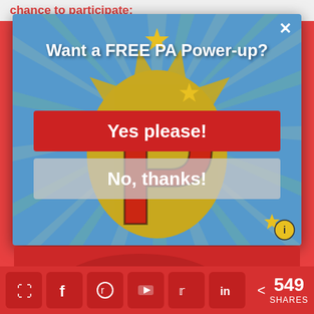chance to participate:
[Figure (screenshot): Modal popup with comic-style background featuring a large red letter P with yellow starburst, blue ray background, and yellow stars. Contains title 'Want a FREE PA Power-up?' with red 'Yes please!' button and grey 'No, thanks!' button. A close X button in top right corner.]
[Figure (screenshot): Social share bar at bottom with Pinterest, Facebook, Reddit, YouTube, Twitter, LinkedIn share icons and share count showing 549 SHARES]